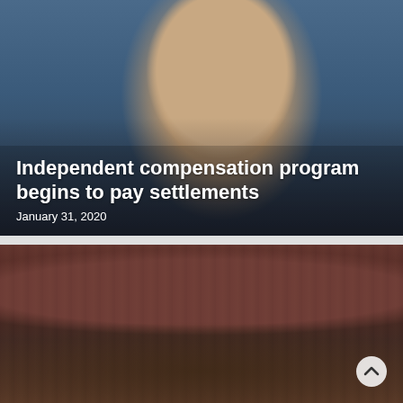[Figure (photo): Photo of a man in a dark suit and tie speaking at a microphone, gesturing with his hand, against a blue background]
Independent compensation program begins to pay settlements
January 31, 2020
[Figure (photo): Photo of a large crowd of people gathered in an auditorium or event hall with decorative wall elements in the background]